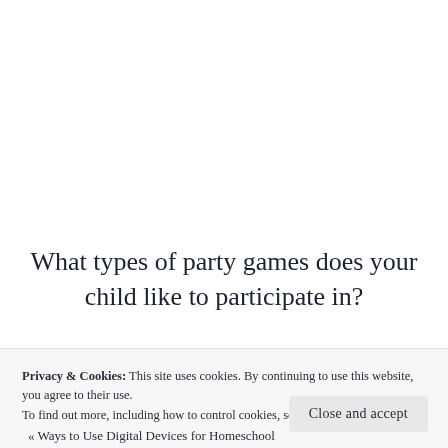What types of party games does your child like to participate in?
Privacy & Cookies: This site uses cookies. By continuing to use this website, you agree to their use.
To find out more, including how to control cookies, see here: Cookie Policy
Close and accept
« Ways to Use Digital Devices for Homeschool